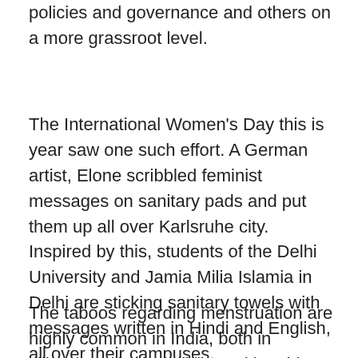policies and governance and others on a more grassroot level.
The International Women's Day this is year saw one such effort. A German artist, Elone scribbled feminist messages on sanitary pads and put them up all over Karlsruhe city. Inspired by this, students of the Delhi University and Jamia Milia Islamia in Delhi are sticking sanitary towels with messages written in Hindi and English, all over their campuses.
The taboos regarding menstruation are highly common in India, both in villages and urban cities. Taking this a step number of towns